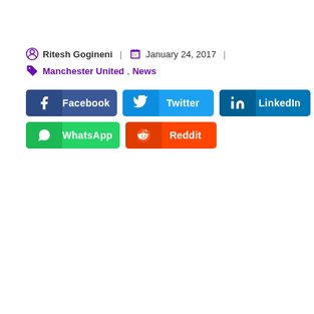Ritesh Gogineni | January 24, 2017 | Manchester United, News
[Figure (infographic): Social share buttons: Facebook, Twitter, LinkedIn, WhatsApp, Reddit]